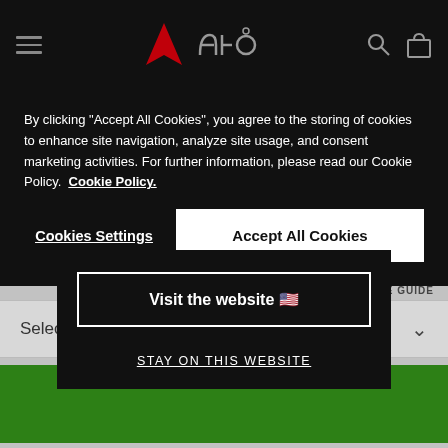Dainese website navigation bar with hamburger menu, logo, and icons
By clicking "Accept All Cookies", you agree to the storing of cookies to enhance site navigation, analyze site usage, and consent marketing activities. For further information, please read our Cookie Policy. Cookie Policy.
Cookies Settings
Accept All Cookies
[Figure (screenshot): Geolocation modal with 'Visit the website' button with US flag emoji and 'STAY ON THIS WEBSITE' link]
Select Size
SIZE GUIDE
8 REVIEWS